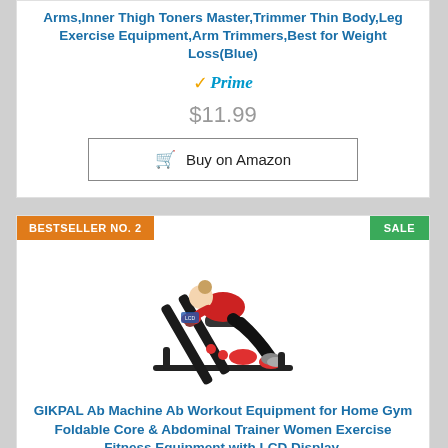Arms,Inner Thigh Toners Master,Trimmer Thin Body,Leg Exercise Equipment,Arm Trimmers,Best for Weight Loss(Blue)
[Figure (logo): Amazon Prime logo with orange checkmark and teal italic Prime text]
$11.99
Buy on Amazon
BESTSELLER NO. 2
SALE
[Figure (photo): Woman in red shirt using a black GIKPAL ab machine / core trainer exercise equipment]
GIKPAL Ab Machine Ab Workout Equipment for Home Gym Foldable Core & Abdominal Trainer Women Exercise Fitness Equipment with LCD Display,